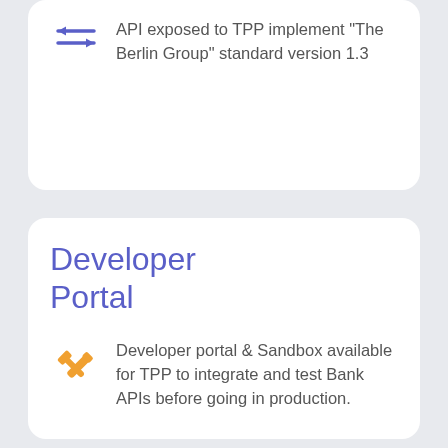API exposed to TPP implement "The Berlin Group" standard version 1.3
Developer Portal
Developer portal & Sandbox available for TPP to integrate and test Bank APIs before going in production.